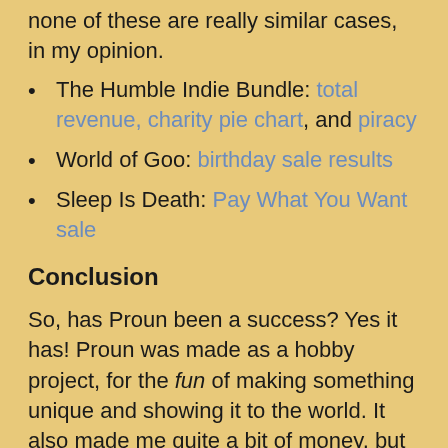none of these are really similar cases, in my opinion.
The Humble Indie Bundle: total revenue, charity pie chart, and piracy
World of Goo: birthday sale results
Sleep Is Death: Pay What You Want sale
Conclusion
So, has Proun been a success? Yes it has! Proun was made as a hobby project, for the fun of making something unique and showing it to the world. It also made me quite a bit of money, but that is not what Proun is about. Proun is about my personal vision of just one way in which games can be more than what they already are. I am glad that the unique and innovative graphical style of Proun really worked for a lot of people. Many games these days look and feel the same, but Proun is part of class of games that does something different. (In this case graphics, but of course gameplay,